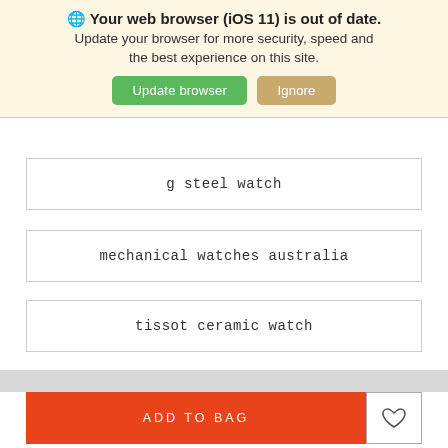🌐 Your web browser (iOS 11) is out of date. Update your browser for more security, speed and the best experience on this site.
Update browser | Ignore
g steel watch
mechanical watches australia
tissot ceramic watch
ADD TO BAG